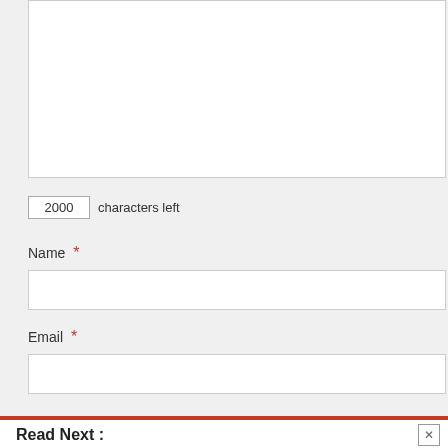[Figure (screenshot): Empty textarea input box with border]
2000  characters left
Name *
[Figure (screenshot): Empty Name text input field]
Email *
[Figure (screenshot): Empty Email text input field]
Read Next :
I Feel Cheated…